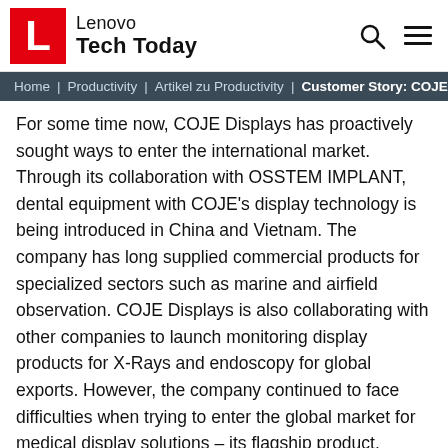Lenovo Tech Today
Home | Productivity | Artikel zu Productivity | Customer Story: COJE...
For some time now, COJE Displays has proactively sought ways to enter the international market. Through its collaboration with OSSTEM IMPLANT, dental equipment with COJE's display technology is being introduced in China and Vietnam. The company has long supplied commercial products for specialized sectors such as marine and airfield observation. COJE Displays is also collaborating with other companies to launch monitoring display products for X-Rays and endoscopy for global exports. However, the company continued to face difficulties when trying to enter the global market for medical display solutions – its flagship product.
The challenge was credibility. Although COJE Displays products were domestically renowned for quality and